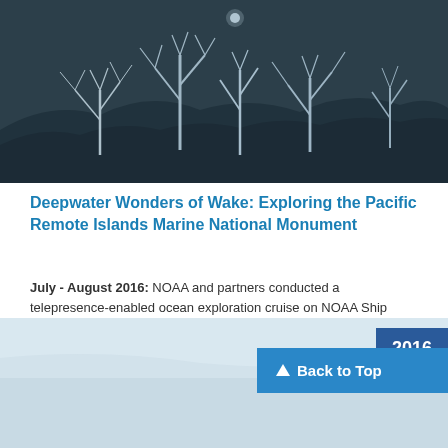[Figure (photo): Underwater deepwater photo showing coral-like white branching structures growing on a dark rocky seafloor, captured during ocean exploration]
Deepwater Wonders of Wake: Exploring the Pacific Remote Islands Marine National Monument
July - August 2016: NOAA and partners conducted a telepresence-enabled ocean exploration cruise on NOAA Ship Okeanos Explorer to collect critical baseline information in and around the Wake Island Unit of the Pacific Remote Islands Marine National Monument.
[Figure (photo): Light blue-gray underwater or ocean surface image at the bottom of the page]
2016
Back to Top